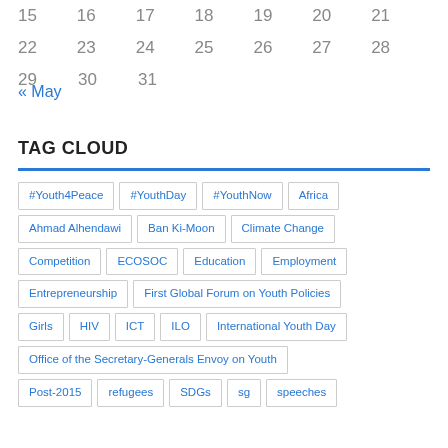15  16  17  18  19  20  21
22  23  24  25  26  27  28
29  30  31
« May
TAG CLOUD
#Youth4Peace | #YouthDay | #YouthNow | Africa | Ahmad Alhendawi | Ban Ki-Moon | Climate Change | Competition | ECOSOC | Education | Employment | Entrepreneurship | First Global Forum on Youth Policies | Girls | HIV | ICT | ILO | International Youth Day | Office of the Secretary-Generals Envoy on Youth | Post-2015 | refugees | SDGs | sg | speeches